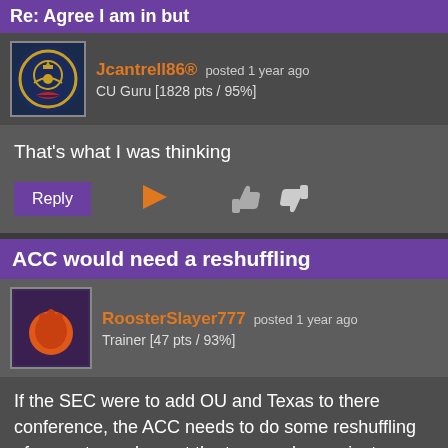Re: Agree I am in but
Jcantrell86® posted 1 year ago
CU Guru [1828 pts / 95%]
That's what I was thinking
ACC would need a reshuffling
RoosterSlayer777 posted 1 year ago
Trainer [47 pts / 93%]
If the SEC were to add OU and Texas to there conference, the ACC needs to do some reshuffling of current member cut the teams who are just collecting a paycheck and never earning one so to speak and add teams who would add value to the conference in more than just tv earnings but to add value to the conference as a whole. I would not mind expanding the conference again if it comes to that just want quality over just expanding